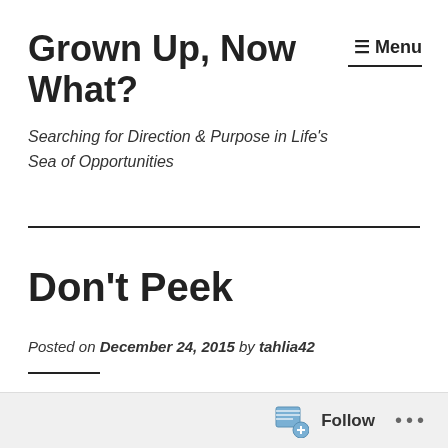Grown Up, Now What?
Searching for Direction & Purpose in Life's Sea of Opportunities
Don't Peek
Posted on December 24, 2015 by tahlia42
Follow